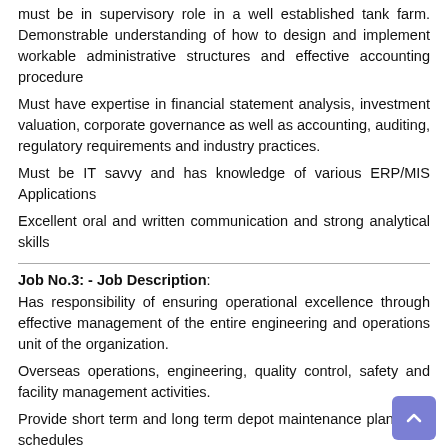must be in supervisory role in a well established tank farm. Demonstrable understanding of how to design and implement workable administrative structures and effective accounting procedure
Must have expertise in financial statement analysis, investment valuation, corporate governance as well as accounting, auditing, regulatory requirements and industry practices.
Must be IT savvy and has knowledge of various ERP/MIS Applications
Excellent oral and written communication and strong analytical skills
Job No.3: - Job Description:
Has responsibility of ensuring operational excellence through effective management of the entire engineering and operations unit of the organization.
Overseas operations, engineering, quality control, safety and facility management activities.
Provide short term and long term depot maintenance plans and schedules